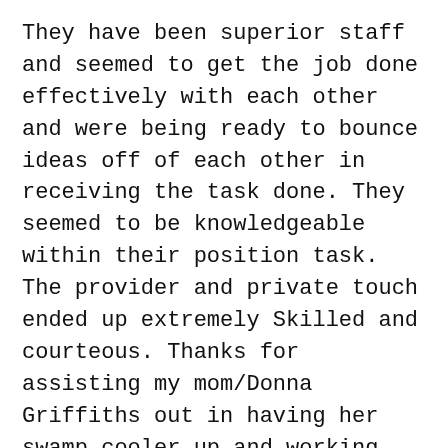They have been superior staff and seemed to get the job done effectively with each other and were being ready to bounce ideas off of each other in receiving the task done. They seemed to be knowledgeable within their position task. The provider and private touch ended up extremely Skilled and courteous. Thanks for assisting my mom/Donna Griffiths out in having her swamp cooler up and working.
A broken air conditioner in the midst SOUTHERN UTAH AIR CONDITIONING of the Salt Lake City summers can cause a nerve racking condition, and we want to be